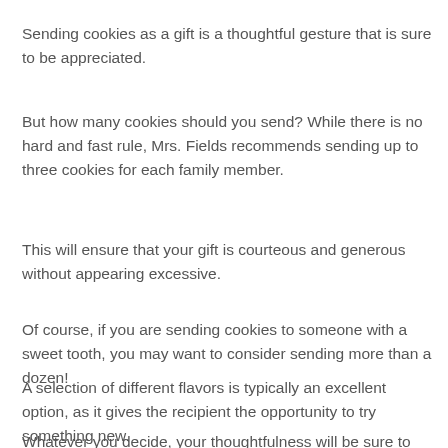Sending cookies as a gift is a thoughtful gesture that is sure to be appreciated.
But how many cookies should you send? While there is no hard and fast rule, Mrs. Fields recommends sending up to three cookies for each family member.
This will ensure that your gift is courteous and generous without appearing excessive.
Of course, if you are sending cookies to someone with a sweet tooth, you may want to consider sending more than a dozen!
A selection of different flavors is typically an excellent option, as it gives the recipient the opportunity to try something new.
Whatever you decide, your thoughtfulness will be sure to put a